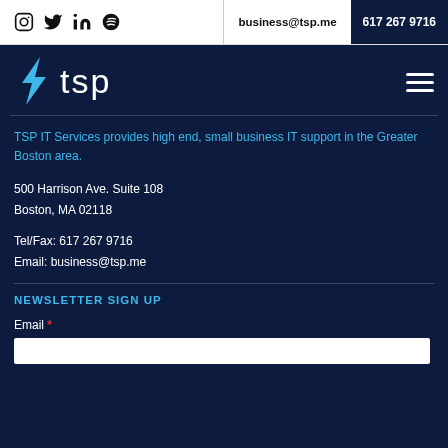Social icons: Instagram, Twitter, LinkedIn, Spotify | business@tsp.me | 617 267 9716
[Figure (logo): TSP IT Services logo with blue lightning bolt and 'tsp' text, hamburger menu icon on the right]
TSP IT Services provides high end, small business IT support in the Greater Boston area.
500 Harrison Ave. Suite 108
Boston, MA 02118
Tel/Fax: 617 267 9716
Email: business@tsp.me
NEWSLETTER SIGN UP
Email *